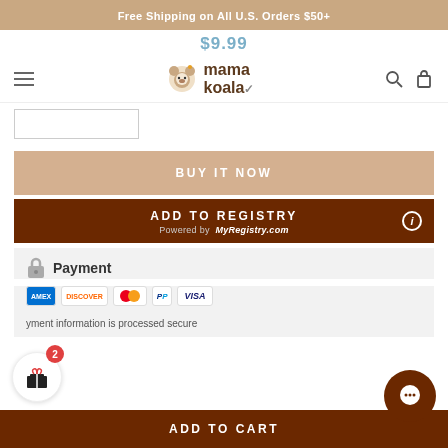Free Shipping on All U.S. Orders $50+
$9.99
[Figure (logo): Mama Koala logo with koala bear cartoon and brand name]
BUY IT NOW
ADD TO REGISTRY
Powered by MyRegistry.com
Payment
[Figure (infographic): Payment card logos: American Express, Discover, Mastercard, PayPal, Visa]
yment information is processed secure
ADD TO CART